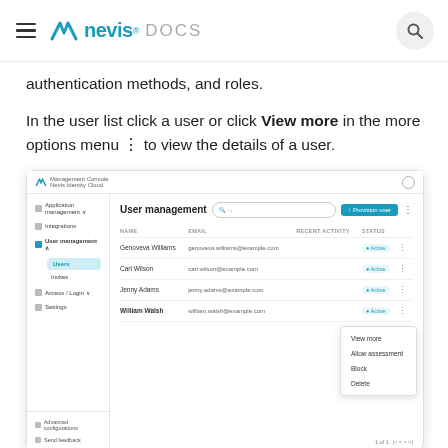nevis DOCS
authentication methods, and roles.
In the user list click a user or click View more in the more options menu ⋮ to view the details of a user.
[Figure (screenshot): Screenshot of Nevis Management Console showing User management page with a list of users (Genoveva Williams, Carl Wilson, Jenny Adams, William Walsh) and a dropdown menu with options: View more, Allow assessment, Block, Delete.]
Personal data
On the Personal data tab you can view all...